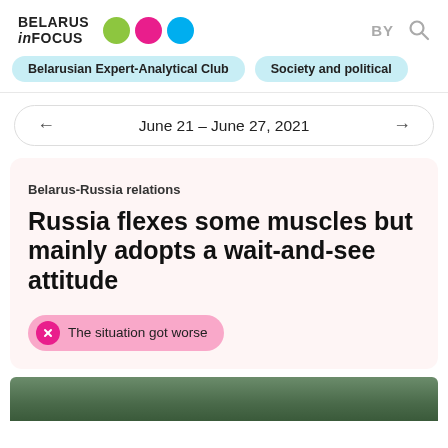BELARUS inFOCUS
Belarusian Expert-Analytical Club
Society and political
June 21 – June 27, 2021
Belarus-Russia relations
Russia flexes some muscles but mainly adopts a wait-and-see attitude
The situation got worse
[Figure (photo): Partial photo visible at bottom of page, showing outdoor greenery/trees]